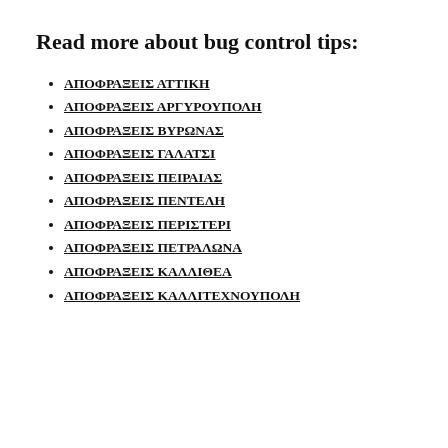Read more about bug control tips:
ΑΠΟΦΡΑΞΕΙΣ ΑΤΤΙΚΗ
ΑΠΟΦΡΑΞΕΙΣ ΑΡΓΥΡΟΥΠΟΛΗ
ΑΠΟΦΡΑΞΕΙΣ ΒΥΡΩΝΑΣ
ΑΠΟΦΡΑΞΕΙΣ ΓΑΛΑΤΣΙ
ΑΠΟΦΡΑΞΕΙΣ ΠΕΙΡΑΙΑΣ
ΑΠΟΦΡΑΞΕΙΣ ΠΕΝΤΕΛΗ
ΑΠΟΦΡΑΞΕΙΣ ΠΕΡΙΣΤΕΡΙ
ΑΠΟΦΡΑΞΕΙΣ ΠΕΤΡΑΛΩΝΑ
ΑΠΟΦΡΑΞΕΙΣ ΚΑΛΛΙΘΕΑ
ΑΠΟΦΡΑΞΕΙΣ ΚΑΛΛΙΤΕΧΝΟΥΠΟΛΗ